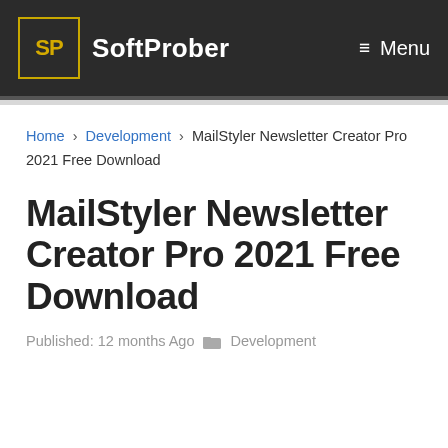SoftProber — Menu
Home › Development › MailStyler Newsletter Creator Pro 2021 Free Download
MailStyler Newsletter Creator Pro 2021 Free Download
Published: 12 months Ago  Development